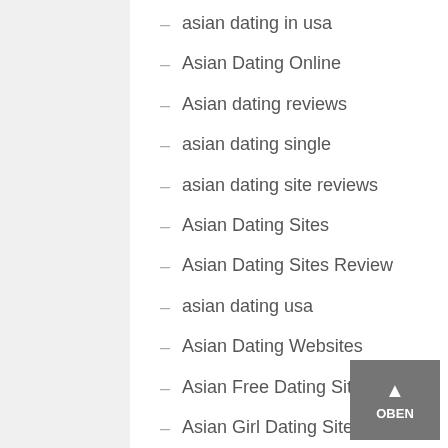asian dating in usa
Asian Dating Online
Asian dating reviews
asian dating single
asian dating site reviews
Asian Dating Sites
Asian Dating Sites Review
asian dating usa
Asian Dating Websites
Asian Free Dating Site
Asian Girl Dating Sites
asian girlfriend dating
Asian Girls Dating